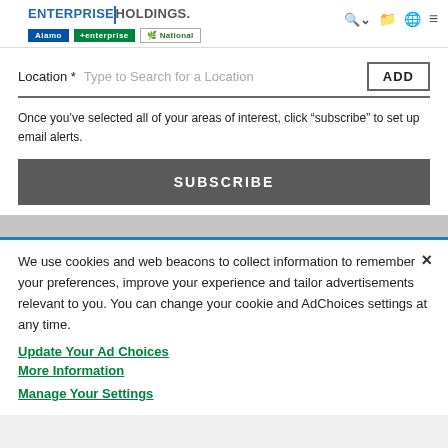[Figure (logo): Enterprise Holdings logo with Alamo, Enterprise, and National brand logos below]
Location * Type to Search for a Location
Once you've selected all of your areas of interest, click “subscribe” to set up email alerts.
SUBSCRIBE
We use cookies and web beacons to collect information to remember your preferences, improve your experience and tailor advertisements relevant to you. You can change your cookie and AdChoices settings at any time.
Update Your Ad Choices
More Information
Manage Your Settings